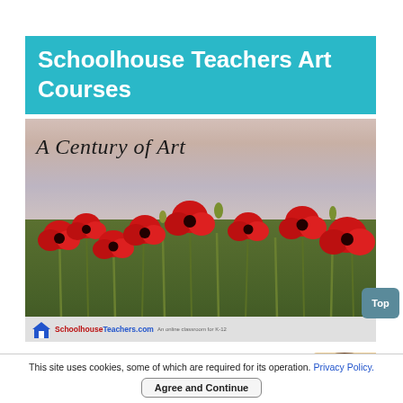Schoolhouse Teachers Art Courses
[Figure (photo): A Century of Art — photo of red poppies in a field with a cloudy sky, with SchoolhouseTeachers.com logo at bottom]
[Figure (photo): Preschool Playground: Arts & Crafts — partial card showing title text and a child with paint-covered hands]
This site uses cookies, some of which are required for its operation. Privacy Policy.
Agree and Continue